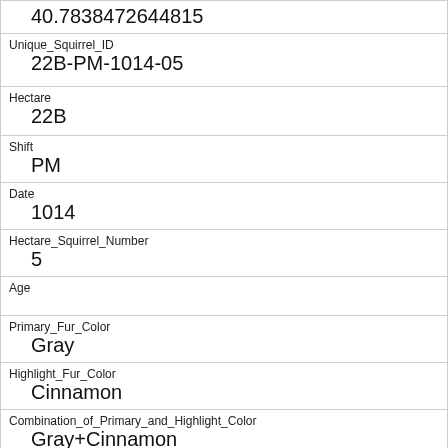| 40.78384726448​15 |
| Unique_Squirrel_ID | 22B-PM-1014-05 |
| Hectare | 22B |
| Shift | PM |
| Date | 1014 |
| Hectare_Squirrel_Number | 5 |
| Age |  |
| Primary_Fur_Color | Gray |
| Highlight_Fur_Color | Cinnamon |
| Combination_of_Primary_and_Highlight_Color | Gray+Cinnamon |
| Color_notes |  |